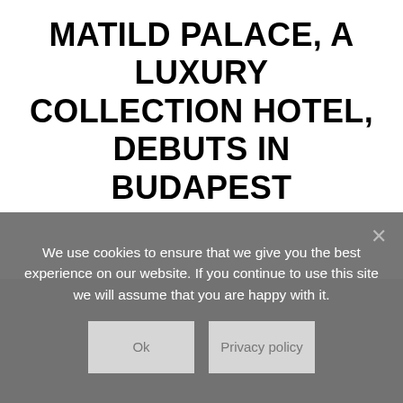MATILD PALACE, A LUXURY COLLECTION HOTEL, DEBUTS IN BUDAPEST
[Figure (photo): Faded/ghosted architectural photograph of the Matild Palace building, rendered in light grey tones]
We use cookies to ensure that we give you the best experience on our website. If you continue to use this site we will assume that you are happy with it.
Ok
Privacy policy